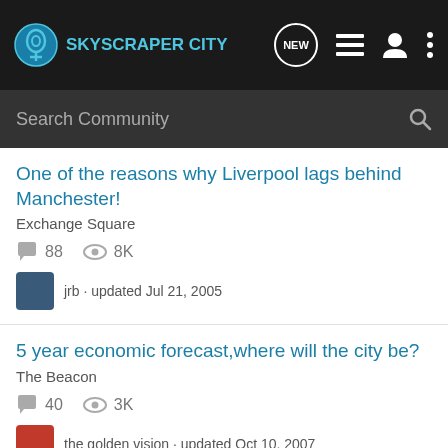SkyscraperCity
Search Community
One of the reasons why Liverpool lags behind Manchester!
Exchange Square
88 comments · 8K views · jrb · updated Jul 21, 2005
5 year economic forecast,where will the city be?
The Beacon
40 comments · 3K views · the golden vision · updated Oct 10, 2007
The Leeds Economy